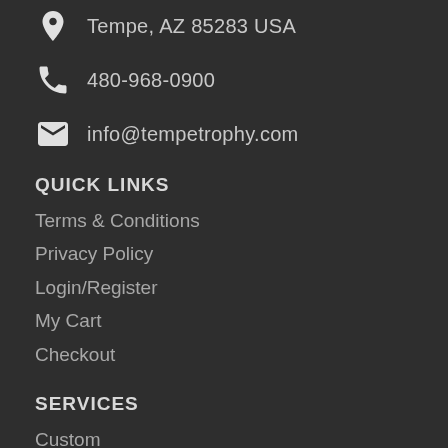Tempe, AZ 85283 USA
480-968-0900
info@tempetrophy.com
QUICK LINKS
Terms & Conditions
Privacy Policy
Login/Register
My Cart
Checkout
SERVICES
Custom
Castings